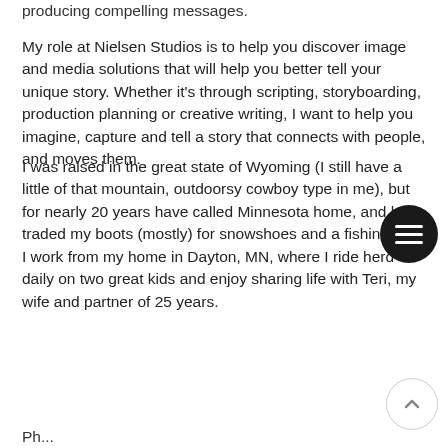producing compelling messages.
My role at Nielsen Studios is to help you discover image and media solutions that will help you better tell your unique story. Whether it's through scripting, storyboarding, production planning or creative writing, I want to help you imagine, capture and tell a story that connects with people, and moves them.
I was raised in the great state of Wyoming (I still have a little of that mountain, outdoorsy cowboy type in me), but for nearly 20 years have called Minnesota home, and have traded my boots (mostly) for snowshoes and a fishing hat. I work from my home in Dayton, MN, where I ride herd daily on two great kids and enjoy sharing life with Teri, my wife and partner of 25 years.
Ph...